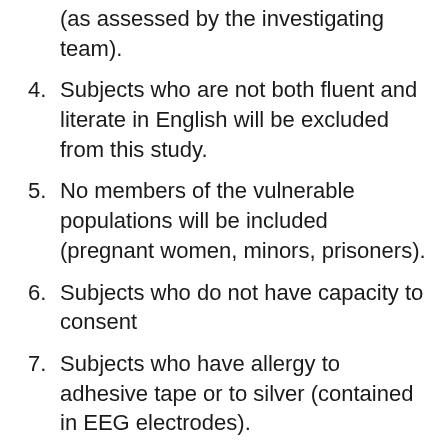(as assessed by the investigating team).
4. Subjects who are not both fluent and literate in English will be excluded from this study.
5. No members of the vulnerable populations will be included (pregnant women, minors, prisoners).
6. Subjects who do not have capacity to consent
7. Subjects who have allergy to adhesive tape or to silver (contained in EEG electrodes).